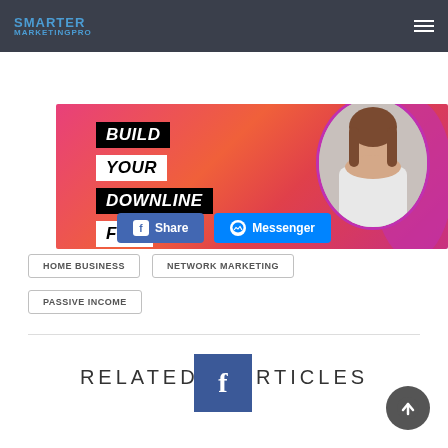SMARTER MARKETINGPRO
[Figure (infographic): Marketing banner with 'BUILD YOUR DOWNLINE FOR YOU!' text on black/white stripes over pink-red gradient background, with a woman working on laptop in circular frame]
[Figure (other): Facebook Share button and Messenger button]
HOME BUSINESS
NETWORK MARKETING
PASSIVE INCOME
RELATED ARTICLES